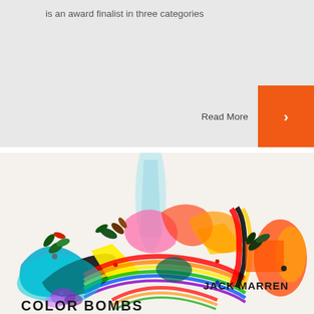is an award finalist in three categories
Read More
[Figure (illustration): Colorful abstract art book cover with swirling rainbow shapes, leaves, flowers, and decorative elements on a light background. Text shows 'JACK MARREN' and 'COLOR BOMBS'.]
JACK MARREN
COLOR BOMBS